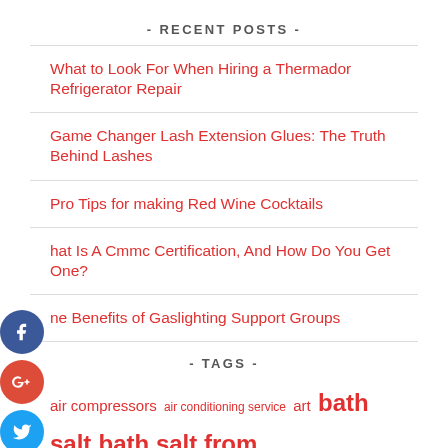- RECENT POSTS -
What to Look For When Hiring a Thermador Refrigerator Repair
Game Changer Lash Extension Glues: The Truth Behind Lashes
Pro Tips for making Red Wine Cocktails
What Is A Cmmc Certification, And How Do You Get One?
The Benefits of Gaslighting Support Groups
- TAGS -
air compressors  air conditioning service  art  bath salt  bath salt from Amazon  bedroom accessories  business card  business